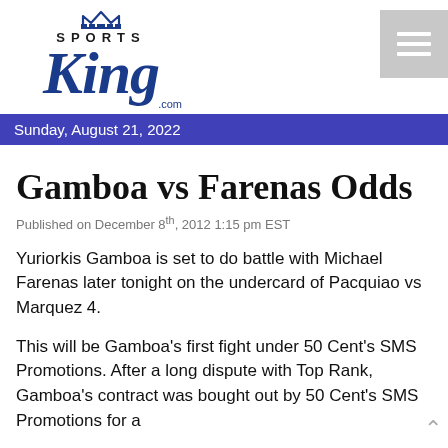[Figure (logo): SportsKing.com logo with crown icon above 'SPORTS' text and 'King' in large italic blue script with '.com' below]
Sunday, August 21, 2022
Gamboa vs Farenas Odds
Published on December 8th, 2012 1:15 pm EST
Yuriorkis Gamboa is set to do battle with Michael Farenas later tonight on the undercard of Pacquiao vs Marquez 4.
This will be Gamboa's first fight under 50 Cent's SMS Promotions. After a long dispute with Top Rank, Gamboa's contract was bought out by 50 Cent's SMS Promotions for a